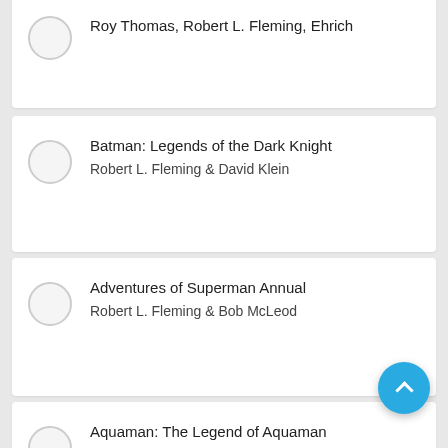Roy Thomas, Robert L. Fleming, Ehrich
Batman: Legends of the Dark Knight
Robert L. Fleming & David Klein
Adventures of Superman Annual
Robert L. Fleming & Bob McLeod
Aquaman: The Legend of Aquaman
Keith Giffen, Robert L. Fleming, Curt
Eclipso (1992-1994) #18
Robert L. Fleming & Audwynn J